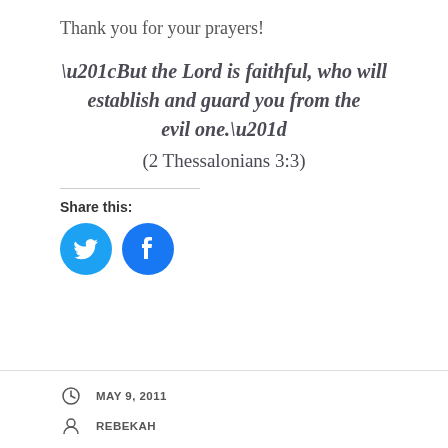Thank you for your prayers!
“But the Lord is faithful, who will establish and guard you from the evil one.” (2 Thessalonians 3:3)
Share this:
[Figure (infographic): Two circular social media share buttons: Twitter (blue bird icon) and Facebook (blue f icon)]
MAY 9, 2011
REBEKAH
SHARING